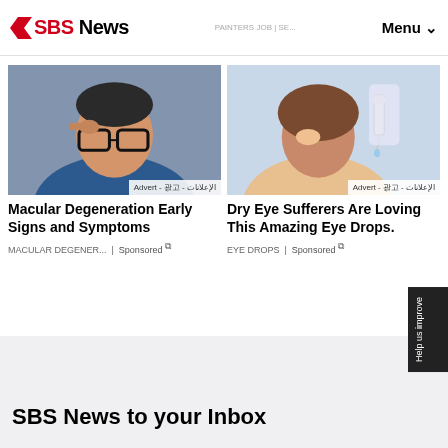SBS News — Menu
See How Much They Cost (See List) PAINTERS JOB | SE...
[Figure (photo): Man adjusting glasses with advert label in Arabic and other scripts]
[Figure (photo): Woman getting eye drops administered with advert label in Arabic and other scripts]
Macular Degeneration Early Signs and Symptoms
Dry Eye Sufferers Are Loving This Amazing Eye Drops.
MACULAR DEGENER... | Sponsored ↗
EYE DROPS | Sponsored ↗
SBS News to your Inbox